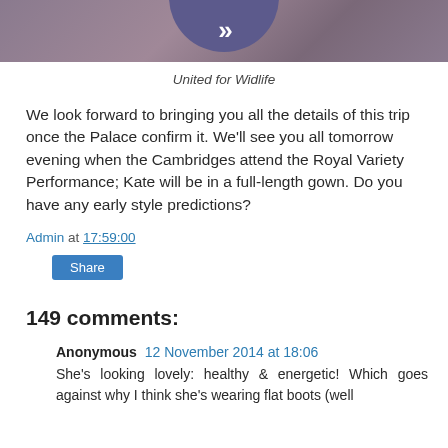[Figure (photo): Partial view of a circular logo or emblem with purple/blue tones and rocky/nature texture background for United for Wildlife]
United for Widlife
We look forward to bringing you all the details of this trip once the Palace confirm it. We'll see you all tomorrow evening when the Cambridges attend the Royal Variety Performance; Kate will be in a full-length gown. Do you have any early style predictions?
Admin at 17:59:00
Share
149 comments:
Anonymous 12 November 2014 at 18:06
She's looking lovely: healthy & energetic! Which goes against why I think she's wearing flat boots (well